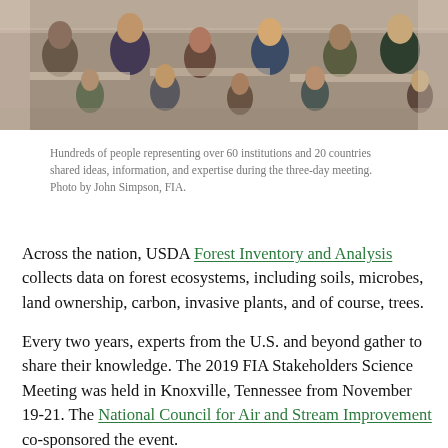[Figure (photo): Overhead view of a large meeting room with hundreds of people seated at tables, viewed from above and behind, working during a conference session.]
Hundreds of people representing over 60 institutions and 20 countries shared ideas, information, and expertise during the three-day meeting. Photo by John Simpson, FIA.
Across the nation, USDA Forest Inventory and Analysis collects data on forest ecosystems, including soils, microbes, land ownership, carbon, invasive plants, and of course, trees.
Every two years, experts from the U.S. and beyond gather to share their knowledge. The 2019 FIA Stakeholders Science Meeting was held in Knoxville, Tennessee from November 19-21. The National Council for Air and Stream Improvement co-sponsored the event.